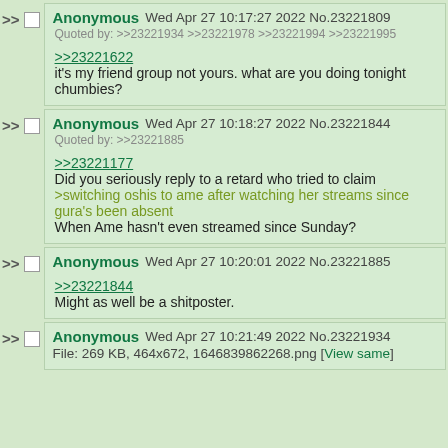Anonymous Wed Apr 27 10:17:27 2022 No.23221809
Quoted by: >>23221934 >>23221978 >>23221994 >>23221995
>>23221622
it's my friend group not yours. what are you doing tonight chumbies?
Anonymous Wed Apr 27 10:18:27 2022 No.23221844
Quoted by: >>23221885
>>23221177
Did you seriously reply to a retard who tried to claim
>switching oshis to ame after watching her streams since gura's been absent
When Ame hasn't even streamed since Sunday?
Anonymous Wed Apr 27 10:20:01 2022 No.23221885
>>23221844
Might as well be a shitposter.
Anonymous Wed Apr 27 10:21:49 2022 No.23221934
File: 269 KB, 464x672, 1646839862268.png [View same]